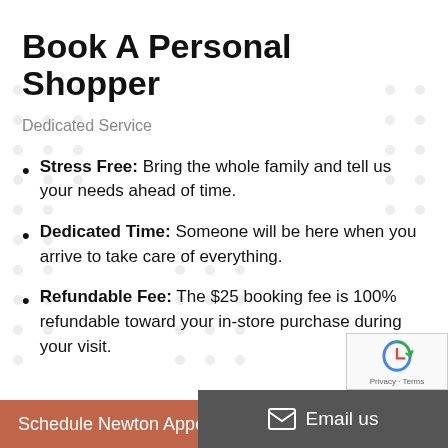Book A Personal Shopper
Dedicated Service
Stress Free: Bring the whole family and tell us your needs ahead of time.
Dedicated Time: Someone will be here when you arrive to take care of everything.
Refundable Fee: The $25 booking fee is 100% refundable toward your in-store purchase during your visit.
Schedule Newton Appointmen...
Email us